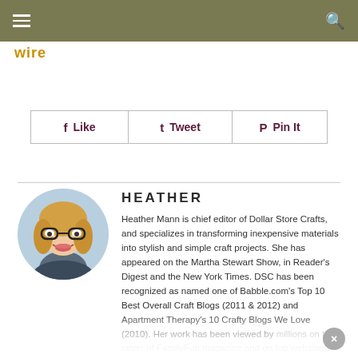wire
[Figure (other): Navigation bar with hamburger menu icon on the left and search icon on the right, dark olive/khaki background]
Like
Tweet
Pin It
[Figure (photo): Circular profile photo of Heather Mann, a woman with glasses and blonde hair, smiling]
HEATHER
Heather Mann is chief editor of Dollar Store Crafts, and specializes in transforming inexpensive materials into stylish and simple craft projects. She has appeared on the Martha Stewart Show, in Reader's Digest and the New York Times. DSC has been recognized as named one of Babble.com's Top 10 Best Overall Craft Blogs (2011 & 2012) and Apartment Therapy's 10 Crafty Blogs We Love (2010). Her work has been viewed by millions on the cover of FamilyFun magazine and on top websites such as RealSimple, Huffington Post,